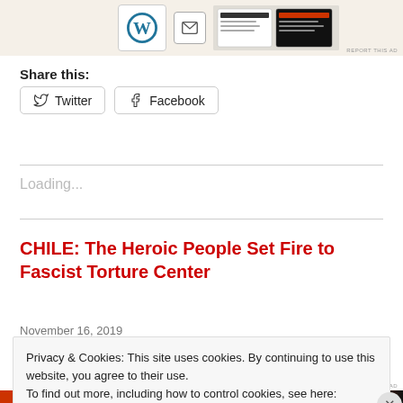[Figure (screenshot): Top advertisement banner with WordPress logo, email icon, and magazine/newsletter mockup images]
Share this:
Twitter  Facebook
Loading...
CHILE: The Heroic People Set Fire to Fascist Torture Center
November 16, 2019
Privacy & Cookies: This site uses cookies. By continuing to use this website, you agree to their use.
To find out more, including how to control cookies, see here: Cookie Policy
Close and accept